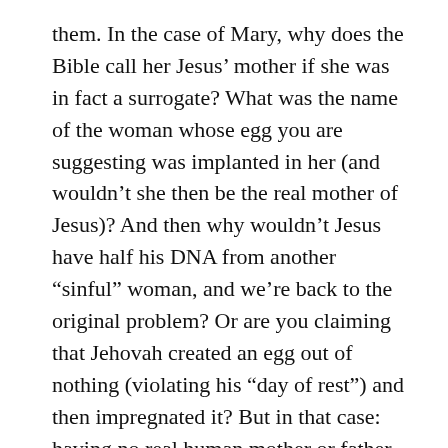them. In the case of Mary, why does the Bible call her Jesus' mother if she was in fact a surrogate? What was the name of the woman whose egg you are suggesting was implanted in her (and wouldn't she then be the real mother of Jesus)? And then why wouldn't Jesus have half his DNA from another “sinful” woman, and we’re back to the original problem? Or are you claiming that Jehovah created an egg out of nothing (violating his “day of rest”) and then impregnated it? But in that case: having no real human mother or father, in what sense could Jesus have been “truly human” or a “son [descendant] of David”? Any way you look at it it makes no sense.